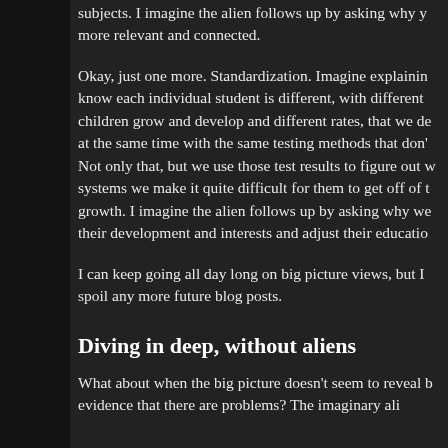subjects. I imagine the alien follows up by asking why y more relevant and connected.
Okay, just one more. Standardization. Imagine explainin know each individual student is different, with different children grow and develop and different rates, that we de at the same time with the same testing methods that don' Not only that, but we use those test results to figure out w systems we make it quite difficult for them to get off of t growth. I imagine the alien follows up by asking why we their development and interests and adjust their educatio
I can keep going all day long on big picture views, but I spoil any more future blog posts.
Diving in deep, without aliens
What about when the big picture doesn't seem to reveal b evidence that there are problems? The imaginary ali